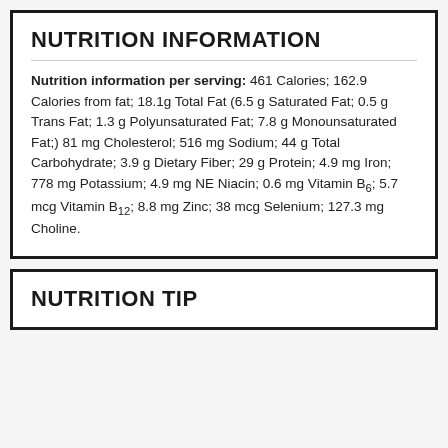NUTRITION INFORMATION
Nutrition information per serving: 461 Calories; 162.9 Calories from fat; 18.1g Total Fat (6.5 g Saturated Fat; 0.5 g Trans Fat; 1.3 g Polyunsaturated Fat; 7.8 g Monounsaturated Fat;) 81 mg Cholesterol; 516 mg Sodium; 44 g Total Carbohydrate; 3.9 g Dietary Fiber; 29 g Protein; 4.9 mg Iron; 778 mg Potassium; 4.9 mg NE Niacin; 0.6 mg Vitamin B6; 5.7 mcg Vitamin B12; 8.8 mg Zinc; 38 mcg Selenium; 127.3 mg Choline.
NUTRITION TIP